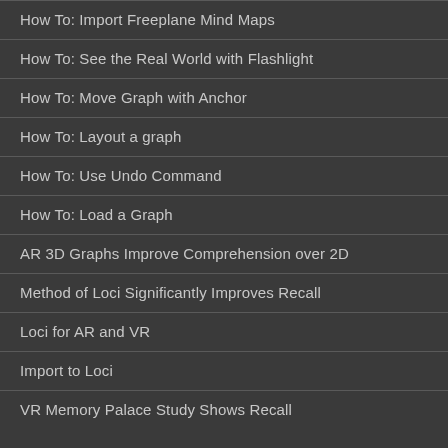How To: Import Freeplane Mind Maps
How To: See the Real World with Flashlight
How To: Move Graph with Anchor
How To: Layout a graph
How To: Use Undo Command
How To: Load a Graph
AR 3D Graphs Improve Comprehension over 2D
Method of Loci Significantly Improves Recall
Loci for AR and VR
Import to Loci
VR Memory Palace Study Shows Recall